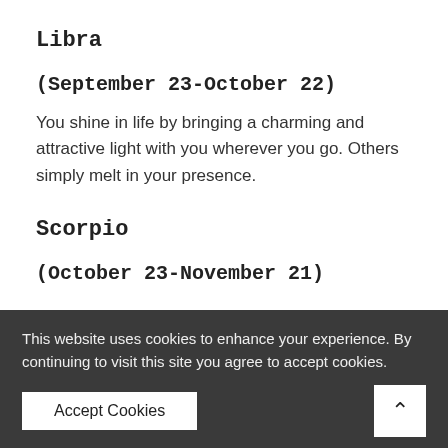Libra
(September 23-October 22)
You shine in life by bringing a charming and attractive light with you wherever you go. Others simply melt in your presence.
Scorpio
(October 23-November 21)
This website uses cookies to enhance your experience. By continuing to visit this site you agree to accept cookies.